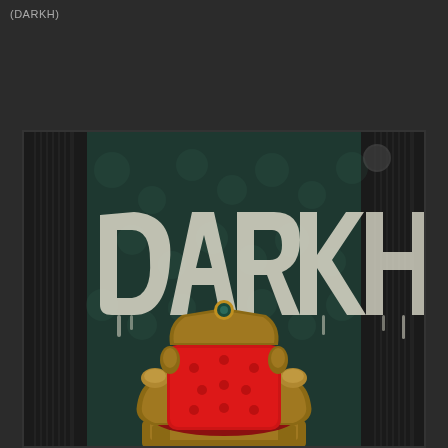(DARKH)
[Figure (illustration): Album art or promotional image for DARKH. Shows a dramatic graffiti-style text 'DARKH' painted on a dark teal textured wall flanked by dark columns. In the foreground is an ornate red velvet throne with gold baroque detailing.]